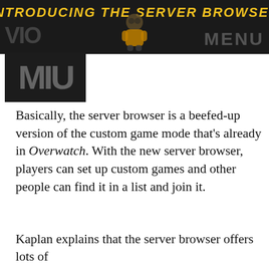[Figure (screenshot): Dark banner image with text 'INTRODUCING THE SERVER BROWSER' in yellow italic bold font, a character silhouette in the center, and 'MENU' watermark on the right. A dark logo block with 'MIU' or similar letters partially visible on the left.]
Basically, the server browser is a beefed-up version of the custom game mode that's already in Overwatch. With the new server browser, players can set up custom games and other people can find it in a list and join it.
ADVERTISEMENT
Kaplan explains that the server browser offers lots of